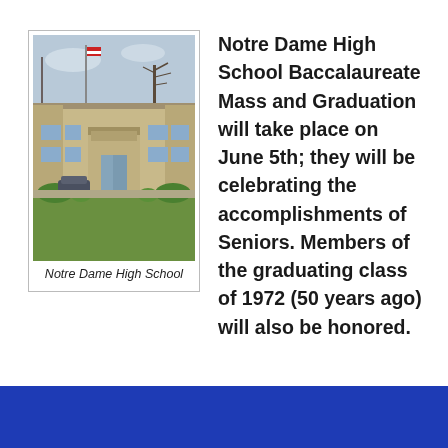[Figure (photo): Exterior photo of Notre Dame High School building with a flagpole and green lawn in front]
Notre Dame High School
Notre Dame High School Baccalaureate Mass and Graduation will take place on June 5th; they will be celebrating the accomplishments of Seniors. Members of the graduating class of 1972 (50 years ago) will also be honored.